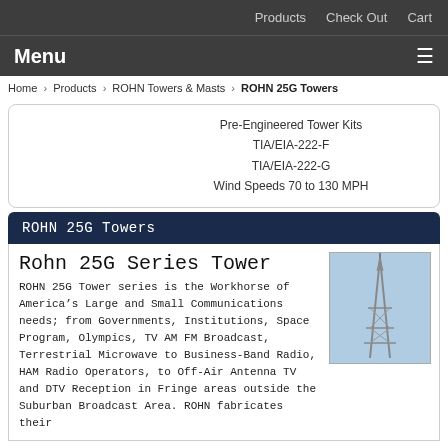Products   Check Out   Cart
Menu ≡
Home › Products › ROHN Towers & Masts › ROHN 25G Towers
Pre-Engineered Tower Kits
TIA/EIA-222-F
TIA/EIA-222-G
Wind Speeds 70 to 130 MPH
ROHN 25G Towers
Rohn 25G Series Tower
[Figure (photo): Photo of a ROHN 25G tower against a blue sky]
ROHN 25G Tower series is the Workhorse of America's Large and Small Communications needs; from Governments, Institutions, Space Program, Olympics, TV AM FM Broadcast, Terrestrial Microwave to Business-Band Radio, HAM Radio Operators, to Off-Air Antenna TV and DTV Reception in Fringe areas outside the Suburban Broadcast Area. ROHN fabricates their